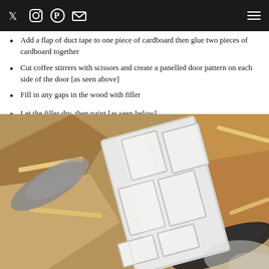Social icons and navigation menu
Add a flap of duct tape to one piece of cardboard then glue two pieces of cardboard together
Cut coffee stirrers with scissors and create a panelled door pattern on each side of the door [as seen above]
Fill in any gaps in the wood with filler
Let the filler dry, then paint [as seen below]
[Figure (photo): A painted white miniature panelled door made from coffee stirrers and cardboard, shown among cardboard pieces and craft materials on a work surface.]